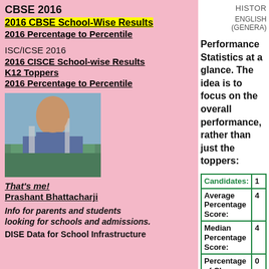CBSE 2016
2016 CBSE School-Wise Results
2016 Percentage to Percentile
ISC/ICSE 2016
2016 CISCE School-wise Results
K12 Toppers
2016 Percentage to Percentile
[Figure (photo): Photo of Prashant Bhattacharji, a man outdoors near a railing with water/ocean in background]
That's me!
Prashant Bhattacharji
Info for parents and students looking for schools and admissions.
DISE Data for School Infrastructure
HISTOR
ENGLISH (GENERA
Performance Statistics at a glance. The idea is to focus on the overall performance, rather than just the toppers:
|  |  |
| --- | --- |
| Candidates: | 1 |
| Average Percentage Score: | 4 |
| Median Percentage Score: | 4 |
| Percentage of Class Scoring | 0 |